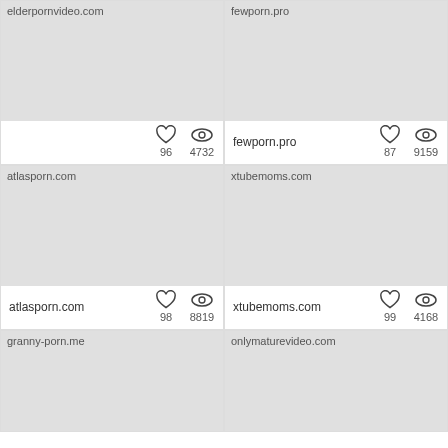[Figure (screenshot): Thumbnail placeholder for elderpornvideo.com]
elderpornvideo.com — 96 likes, 4732 views
[Figure (screenshot): Thumbnail placeholder for fewporn.pro]
fewporn.pro — 87 likes, 9159 views
[Figure (screenshot): Thumbnail placeholder for atlasporn.com]
atlasporn.com — 98 likes, 8819 views
[Figure (screenshot): Thumbnail placeholder for xtubemoms.com]
xtubemoms.com — 99 likes, 4168 views
[Figure (screenshot): Thumbnail placeholder for granny-porn.me]
[Figure (screenshot): Thumbnail placeholder for onlymaturevideo.com]